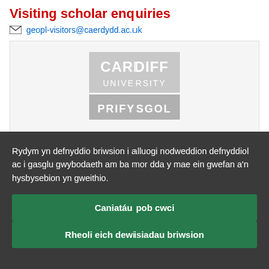Visiting scholar enquiries
geopl-visitors@caerdydd.ac.uk
[Figure (logo): Cardiff University logo in grey, showing 'CARDIFF UNIVERSITY' in large text and 'PRIFYSGOL' partially visible below, on a light grey background]
Rydym yn defnyddio briwsion i alluogi nodweddion defnyddiol ac i gasglu gwybodaeth am ba mor dda y mae ein gwefan a'n hysbysebion yn gweithio.
Caniatáu pob cwci
Rheoli eich dewisiadau briwsion